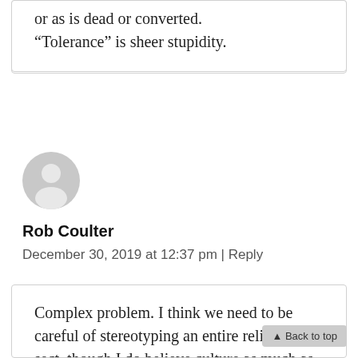or as is dead or converted. “Tolerance” is sheer stupidity.
[Figure (illustration): Generic user avatar — grey circle with person silhouette]
Rob Coulter
December 30, 2019 at 12:37 pm | Reply
Complex problem. I think we need to be careful of stereotyping an entire religious sect, though I do believe culture as much as religion undoubtedly drives the confusing,